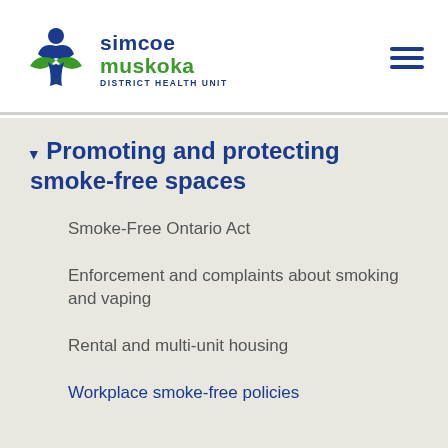simcoe muskoka DISTRICT HEALTH UNIT
Promoting and protecting smoke-free spaces
Smoke-Free Ontario Act
Enforcement and complaints about smoking and vaping
Rental and multi-unit housing
Workplace smoke-free policies